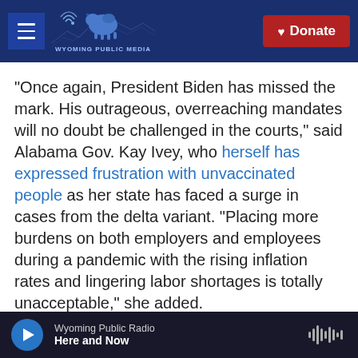[Figure (logo): Wyoming Public Media logo with bison and mountain skyline on dark blue header background, hamburger menu icon on left, red Donate button on right]
"Once again, President Biden has missed the mark. His outrageous, overreaching mandates will no doubt be challenged in the courts," said Alabama Gov. Kay Ivey, who herself has expressed frustration with unvaccinated people as her state has faced a surge in cases from the delta variant. "Placing more burdens on both employers and employees during a pandemic with the rising inflation rates and lingering labor shortages is totally unacceptable," she added.
The Republican National Committee threatened to
[Figure (other): Audio player bar at bottom: Wyoming Public Radio - Here and Now, with blue play button and audio waveform icon]